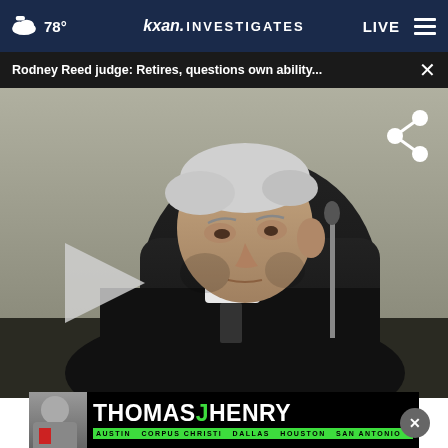78° kxan. INVESTIGATES LIVE
Rodney Reed judge: Retires, questions own ability...
[Figure (screenshot): Video player screenshot showing an elderly judge in black robes seated at a bench with a microphone, with a play button overlay on the left side and a share icon on the upper right. The background is dark.]
[Figure (advertisement): Thomas J Henry law firm advertisement banner. Shows a man in a suit on the left. Text reads THOMAS J HENRY in large white letters with green J. Bottom bar reads: AUSTIN CORPUS CHRISTI DALLAS HOUSTON SAN ANTONIO]